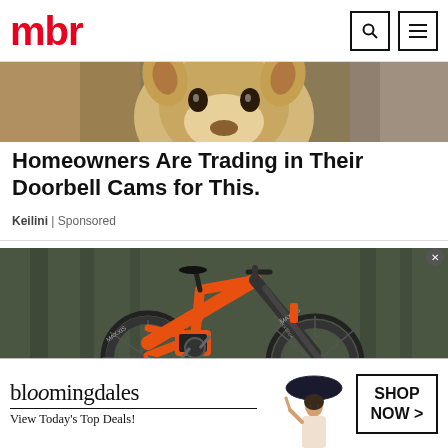mbr
[Figure (photo): Partial close-up photo of an animal (deer/antelope) face against a rocky/earth background]
Homeowners Are Trading in Their Doorbell Cams for This.
Keilini | Sponsored
[Figure (photo): Orange mountain bike (full-suspension e-bike) parked in a forest setting with large knobby Maxxis tires and RockShox fork]
[Figure (other): Bloomingdale's advertisement banner: 'bloomingdales / View Today's Top Deals!' with a woman in a wide-brim hat and 'SHOP NOW >' button]